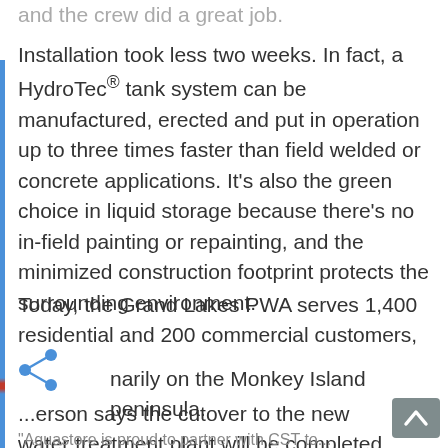and the crew did a great job.
Installation took less two weeks. In fact, a HydroTec® tank system can be manufactured, erected and put in operation up to three times faster than field welded or concrete applications. It's also the green choice in liquid storage because there's no in-field painting or repainting, and the minimized construction footprint protects the surrounding environment.
Today, the Grand Lakes PWA serves 1,400 residential and 200 commercial customers, primarily on the Monkey Island peninsula. Anderson says the cutover to the new water treatment plant will be completed by the spring.
"Aquastore is proud to partner with CST to...